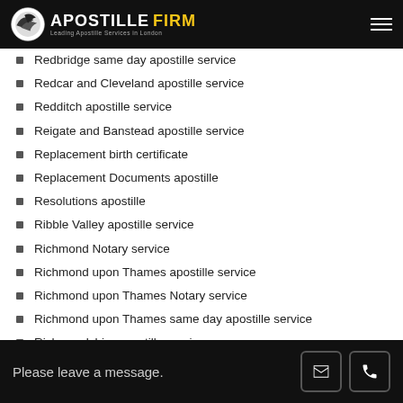Apostille Firm — Leading Apostille Services in London
Redbridge same day apostille service
Redcar and Cleveland apostille service
Redditch apostille service
Reigate and Banstead apostille service
Replacement birth certificate
Replacement Documents apostille
Resolutions apostille
Ribble Valley apostille service
Richmond Notary service
Richmond upon Thames apostille service
Richmond upon Thames Notary service
Richmond upon Thames same day apostille service
Richmondshire apostille service
Rochdale apostille service
Please leave a message.